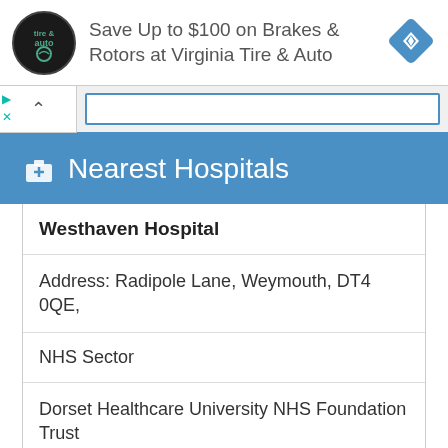[Figure (screenshot): Advertisement banner: Virginia Tire & Auto logo (circular black badge), text 'Save Up to $100 on Brakes & Rotors at Virginia Tire & Auto', blue diamond navigation icon on right. Small play and close controls on left edge.]
Nearest Hospitals
| Westhaven Hospital |
| Address: Radipole Lane, Weymouth, DT4 0QE, |
| NHS Sector |
| Dorset Healthcare University NHS Foundation Trust |